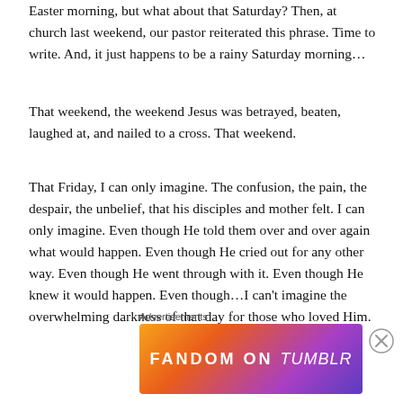Easter morning, but what about that Saturday? Then, at church last weekend, our pastor reiterated this phrase. Time to write. And, it just happens to be a rainy Saturday morning…
That weekend, the weekend Jesus was betrayed, beaten, laughed at, and nailed to a cross. That weekend.
That Friday, I can only imagine. The confusion, the pain, the despair, the unbelief, that his disciples and mother felt. I can only imagine. Even though He told them over and over again what would happen. Even though He cried out for any other way. Even though He went through with it. Even though He knew it would happen. Even though…I can't imagine the overwhelming darkness of that day for those who loved Him.
Advertisements
[Figure (illustration): Fandom on Tumblr advertisement banner with colorful gradient background]